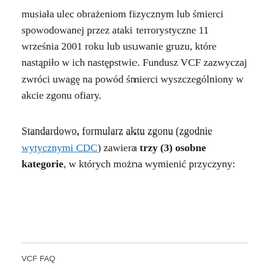musiała ulec obrażeniom fizycznym lub śmierci spowodowanej przez ataki terrorystyczne 11 września 2001 roku lub usuwanie gruzu, które nastąpiło w ich następstwie. Fundusz VCF zazwyczaj zwróci uwagę na powód śmierci wyszczególniony w akcie zgonu ofiary.
Standardowo, formularz aktu zgonu (zgodnie wytycznymi CDC) zawiera trzy (3) osobne kategorie, w których można wymienić przyczyny:
VCF FAQ
1.8 If an individual with an eligible 9/11-related illness passes away, and the death